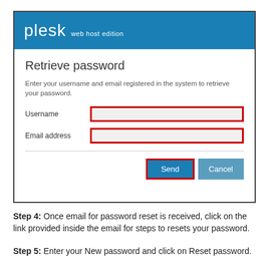[Figure (screenshot): Plesk web host edition - Retrieve password form with Username and Email address fields (highlighted in red borders), and Send (red border) and Cancel buttons]
Step 4: Once email for password reset is received, click on the link provided inside the email for steps to resets your password.
Step 5: Enter your New password and click on Reset password.